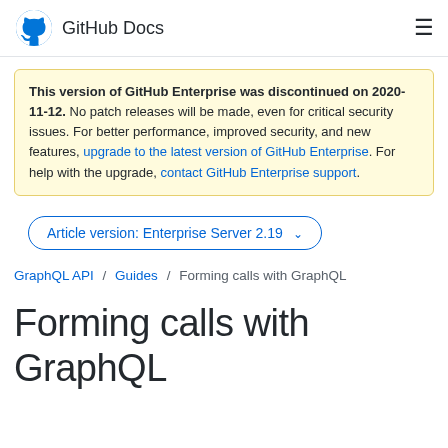GitHub Docs
This version of GitHub Enterprise was discontinued on 2020-11-12. No patch releases will be made, even for critical security issues. For better performance, improved security, and new features, upgrade to the latest version of GitHub Enterprise. For help with the upgrade, contact GitHub Enterprise support.
Article version: Enterprise Server 2.19
GraphQL API / Guides / Forming calls with GraphQL
Forming calls with GraphQL